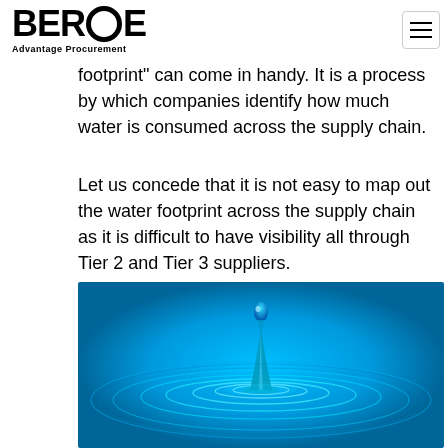BEROE — Advantage Procurement
footprint" can come in handy. It is a process by which companies identify how much water is consumed across the supply chain.
Let us concede that it is not easy to map out the water footprint across the supply chain as it is difficult to have visibility all through Tier 2 and Tier 3 suppliers.
[Figure (photo): A blue water drop splash with ripples on a bright blue water surface, photographed from above.]